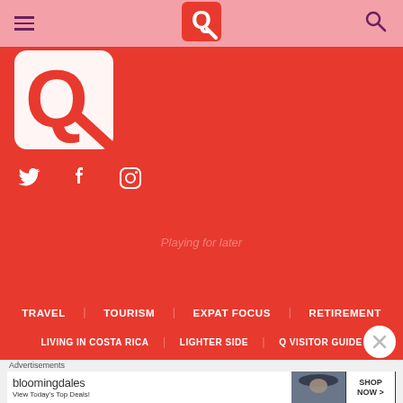Navigation bar with hamburger menu, Q logo, search icon
[Figure (logo): Q Costa Rica website logo - white Q symbol with checkmark on red background]
[Figure (infographic): Social media icons: Twitter bird, Facebook f, Instagram camera]
Playing for later
TRAVEL   TOURISM   EXPAT FOCUS   RETIREMENT
LIVING IN COSTA RICA   LIGHTER SIDE   Q VISITOR GUIDE
Advertisements
[Figure (other): Bloomingdales advertisement banner: 'bloomingdales View Today's Top Deals!' with woman in hat and SHOP NOW button]